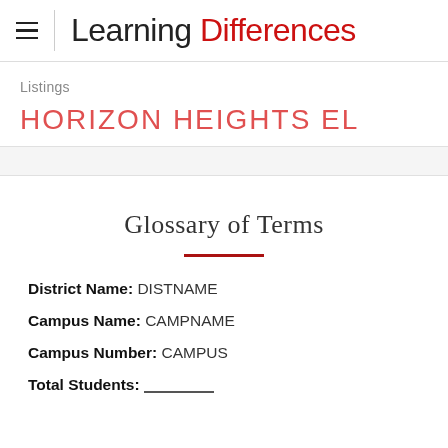Learning Differences
Listings
HORIZON HEIGHTS EL
Glossary of Terms
District Name: DISTNAME
Campus Name: CAMPNAME
Campus Number: CAMPUS
Total Students: SPETLLG